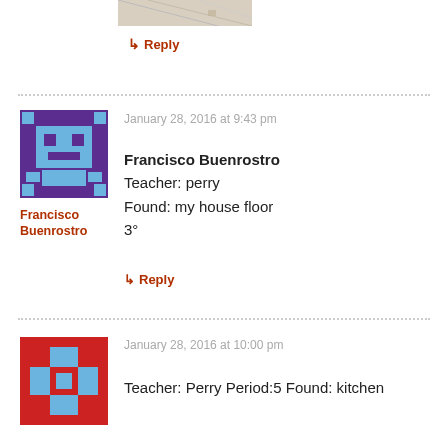[Figure (photo): Partial photo of a textured surface (floor?) with diagonal lines, cropped at top]
↳ Reply
January 28, 2016 at 9:43 pm
[Figure (illustration): Pixel avatar of Francisco Buenrostro — purple background with light blue robot/character shape]
Francisco Buenrostro
Francisco Buenrostro
Teacher: perry
Found: my house floor
3°
↳ Reply
[Figure (illustration): Pixel avatar with red background and light blue cross/plus shape]
January 28, 2016 at 10:00 pm
Teacher: Perry Period:5 Found: kitchen